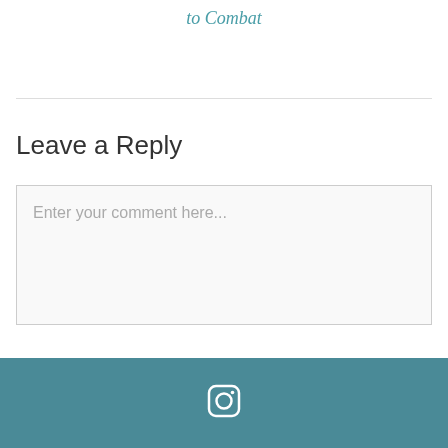to Combat
Leave a Reply
Enter your comment here...
[Figure (logo): Instagram camera icon in white on teal footer background]